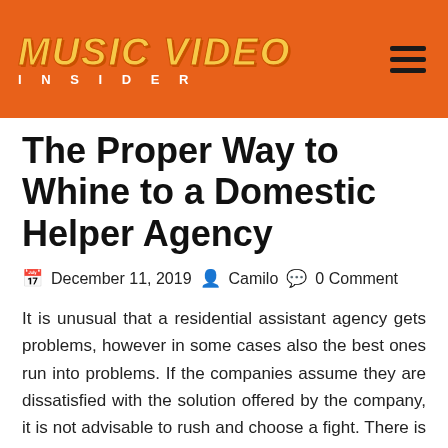[Figure (logo): Music Video Insider logo on orange header bar with hamburger menu icon]
The Proper Way to Whine to a Domestic Helper Agency
December 11, 2019  Camilo  0 Comment
It is unusual that a residential assistant agency gets problems, however in some cases also the best ones run into problems. If the companies assume they are dissatisfied with the solution offered by the company, it is not advisable to rush and choose a fight. There is a best method to express discontentment as well as leave everybody satisfied as well as tranquil. If you use a house cleaning service however you are not pleased